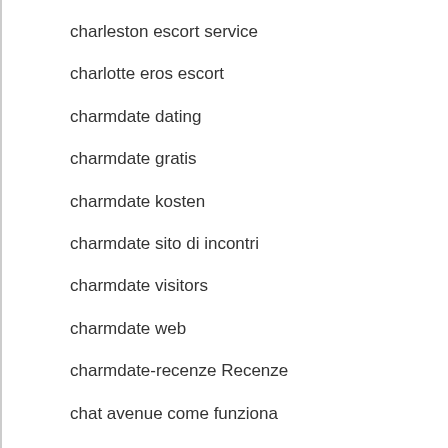charleston escort service
charlotte eros escort
charmdate dating
charmdate gratis
charmdate kosten
charmdate sito di incontri
charmdate visitors
charmdate web
charmdate-recenze Recenze
chat avenue come funziona
chat avenue dating
chat hour avis